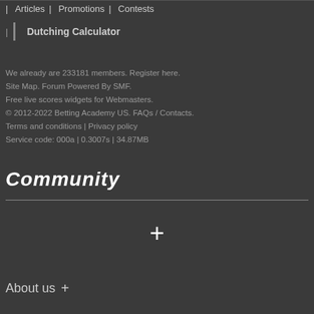Articles | Promotions | Contests
Dutching Calculator
We already are 233181 members. Register here.
Site Map. Forum Powered By SMF.
Free live scores widgets for Webmasters.
© 2012-2022 Betting Academy US. FAQs / Contacts.
Terms and conditions | Privacy policy
Service code: 000a | 0.3007s | 34.87MB
Community
[Figure (other): Plus icon / expand button in the center of the community section]
About us +